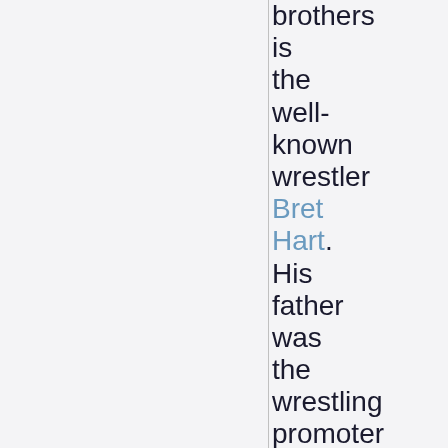brothers is the well-known wrestler Bret Hart. His father was the wrestling promoter Stu Hart.